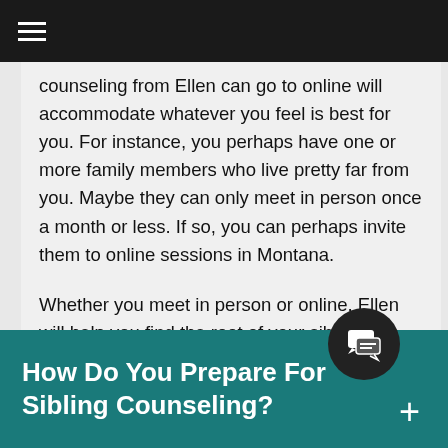navigation bar with hamburger menu
counseling from Ellen can go to online will accommodate whatever you feel is best for you. For instance, you perhaps have one or more family members who live pretty far from you. Maybe they can only meet in person once a month or less. If so, you can perhaps invite them to online sessions in Montana.
Whether you meet in person or online, Ellen will help you find the root of your sibling issues. This compassion will help you strengthen your bonds and form relationships that last for your lifetime.
How Do You Prepare For Sibling Counseling?